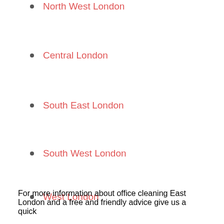North West London
Central London
South East London
South West London
West London
For more information about office cleaning East London and a free and friendly advice give us a quick